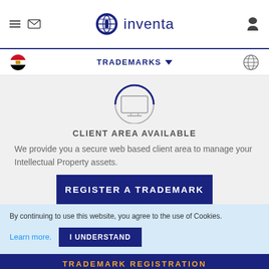inventa
TRADEMARKS
[Figure (illustration): Monitor/screen icon inside a circle with a dark blue arc at the top, on a light grey background]
CLIENT AREA AVAILABLE
We provide you a secure web based client area to manage your Intellectual Property assets.
REGISTER A TRADEMARK
By continuing to use this website, you agree to the use of Cookies.
Learn more.  I UNDERSTAND
TRADEMARK REGISTRATION